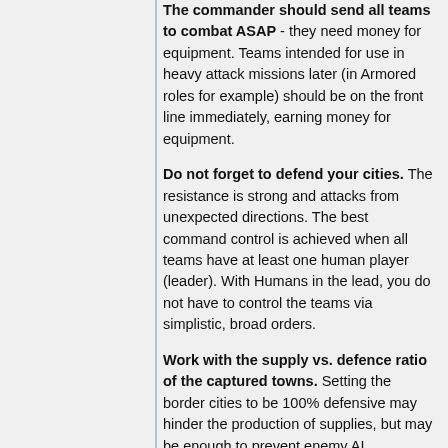The commander should send all teams to combat ASAP - they need money for equipment. Teams intended for use in heavy attack missions later (in Armored roles for example) should be on the front line immediately, earning money for equipment.
Do not forget to defend your cities. The resistance is strong and attacks from unexpected directions. The best command control is achieved when all teams have at least one human player (leader). With Humans in the lead, you do not have to control the teams via simplistic, broad orders.
Work with the supply vs. defence ratio of the captured towns. Setting the border cities to be 100% defensive may hinder the production of supplies, but may be enough to prevent enemy AI